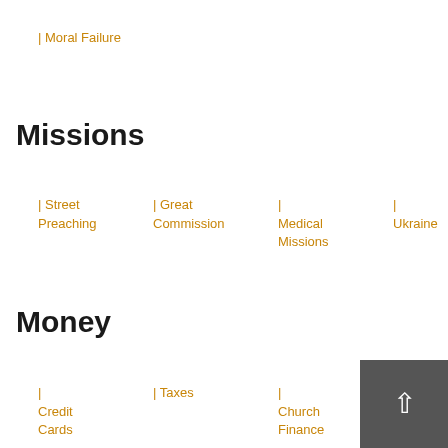| Moral Failure
Missions
| Street Preaching
| Great Commission
| Medical Missions
| Ukraine
Money
| Credit Cards
| Taxes
| Church Finance
| Econo...
| Bu...